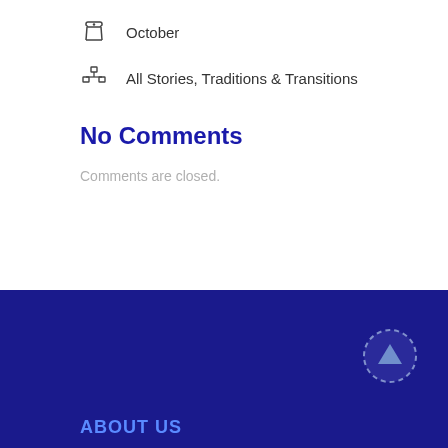October
All Stories, Traditions & Transitions
No Comments
Comments are closed.
ABOUT US